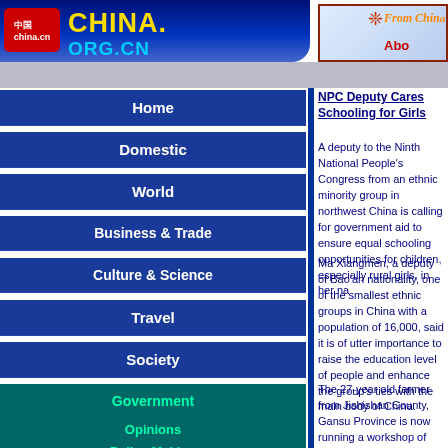[Figure (logo): China.org.cn website logo with red icon box, yellow CHINA. text and cyan ORG.CN text on blue background]
[Figure (illustration): Banner showing decorative Chinese knot, cursive orange From China text and red About text on light blue background]
Home
Domestic
World
Business & Trade
Culture & Science
Travel
Society
Government
Opinions
Policy Making
NPC Deputy Cares Schooling for Girls
A deputy to the Ninth National People's Congress from an ethnic minority group in northwest China is calling for government aid to ensure equal schooling opportunities for children, especially rural girls, in her native area.
Ma Xiangmen, a deputy of Bao'an nationality, one of the smallest ethnic groups in China with a population of 16,000, said it is of utter importance to raise the education level of people and enhance the group's ties with the main body of China.
The 27-year old farmer from Jishishan County, Gansu Province is now running a workshop of